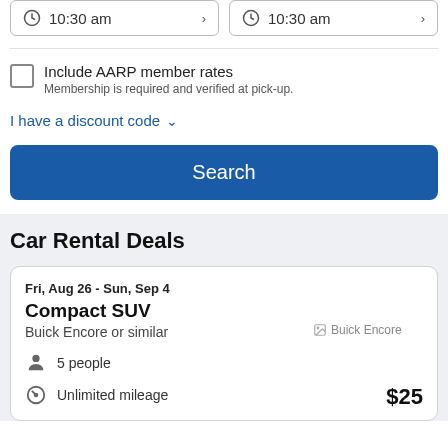[Figure (screenshot): Two time picker input boxes both showing '10:30 am' with clock icons and dropdown arrows]
Include AARP member rates
Membership is required and verified at pick-up.
I have a discount code
Search
Car Rental Deals
Fri, Aug 26 - Sun, Sep 4
Compact SUV
Buick Encore or similar
5 people
Unlimited mileage
$25